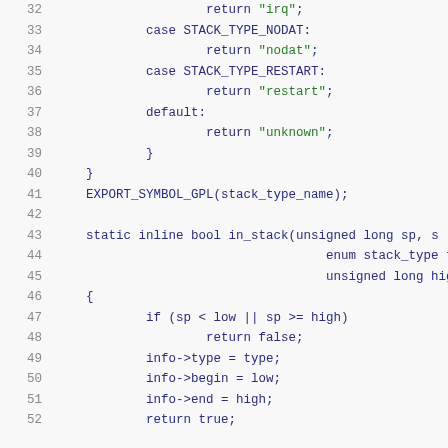Code listing lines 32-52: C source code for stack type functions including return statements, EXPORT_SYMBOL_GPL, and in_stack function definition